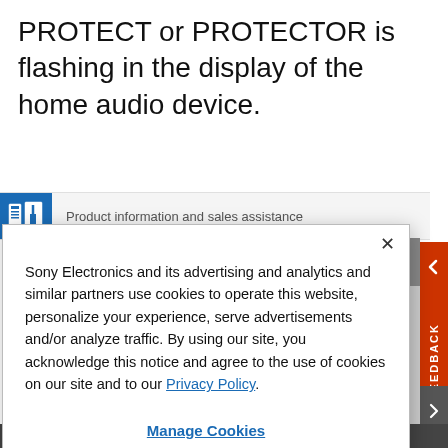PROTECT or PROTECTOR is flashing in the display of the home audio device.
[Figure (screenshot): Sony website icon bar with blue product information icon and text 'Product information and sales assistance']
Sony Electronics and its advertising and analytics and similar partners use cookies to operate this website, personalize your experience, serve advertisements and/or analyze traffic. By using our site, you acknowledge this notice and agree to the use of cookies on our site and to our Privacy Policy.
Manage Cookies